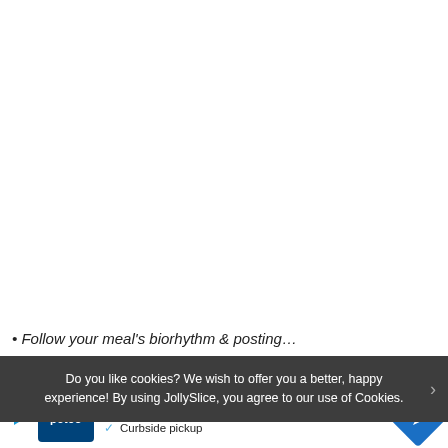• Follow your meal's biorhythm & posting…
Do you like cookies? We wish to offer you a better, happy experience! By using JollySlice, you agree to our use of Cookies.
[Figure (screenshot): Petco advertisement banner with logo, checkmarks for In-store shopping and Curbside pickup, blue navigation icon, and a play/close button on the left.]